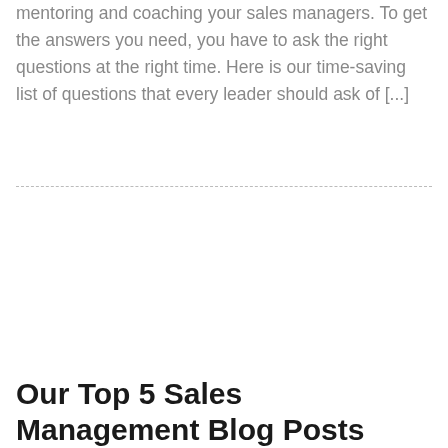mentoring and coaching your sales managers. To get the answers you need, you have to ask the right questions at the right time. Here is our time-saving list of questions that every leader should ask of [...]
Our Top 5 Sales Management Blog Posts